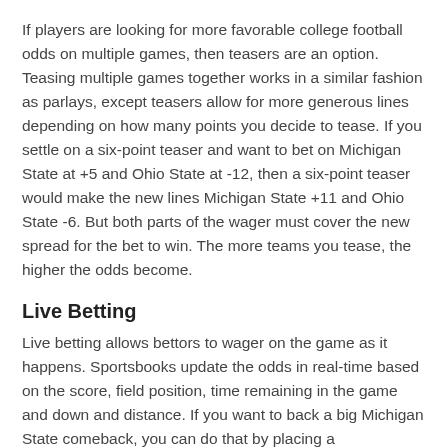If players are looking for more favorable college football odds on multiple games, then teasers are an option. Teasing multiple games together works in a similar fashion as parlays, except teasers allow for more generous lines depending on how many points you decide to tease. If you settle on a six-point teaser and want to bet on Michigan State at +5 and Ohio State at -12, then a six-point teaser would make the new lines Michigan State +11 and Ohio State -6. But both parts of the wager must cover the new spread for the bet to win. The more teams you tease, the higher the odds become.
Live Betting
Live betting allows bettors to wager on the game as it happens. Sportsbooks update the odds in real-time based on the score, field position, time remaining in the game and down and distance. If you want to back a big Michigan State comeback, you can do that by placing a